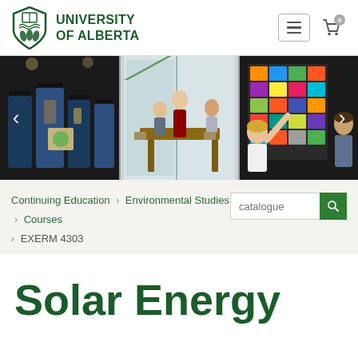[Figure (logo): University of Alberta shield logo with green shield and book/wheat symbols]
UNIVERSITY OF ALBERTA
[Figure (photo): Carousel of three university photos: graduation ceremony, classroom/meeting space, and person pointing at sticky notes on a wall]
Continuing Education > Environmental Studies > Courses > EXERM 4303
Solar Energy